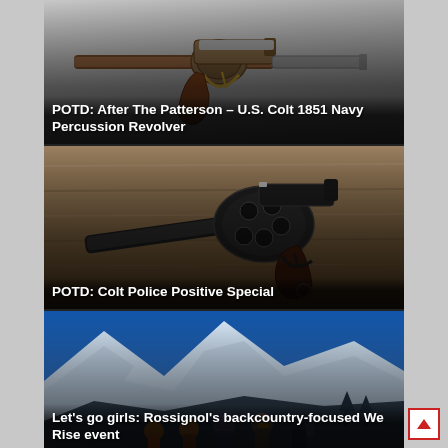[Figure (photo): Antique Colt 1851 Navy Percussion Revolver on grey background with overlay title text]
[Figure (photo): Colt Police Positive Special revolver lying on wooden surface with overlay title text]
[Figure (photo): Group of women in winter gear on snowy mountain backcountry with overlay title text]